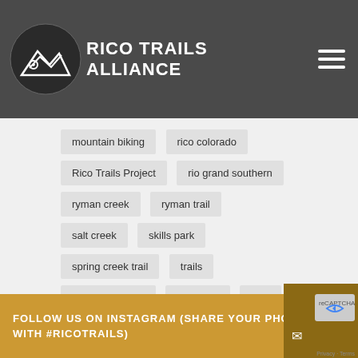[Figure (logo): Rico Trails Alliance logo with mountain/circle icon and white text on dark gray header background]
mountain biking
rico colorado
Rico Trails Project
rio grand southern
ryman creek
ryman trail
salt creek
skills park
spring creek trail
trails
trails committee
trail work
usfs
volunteer
winter carnival
winter trails
FOLLOW US ON INSTAGRAM (SHARE YOUR PHOTOS WITH #RICOTRAILS)